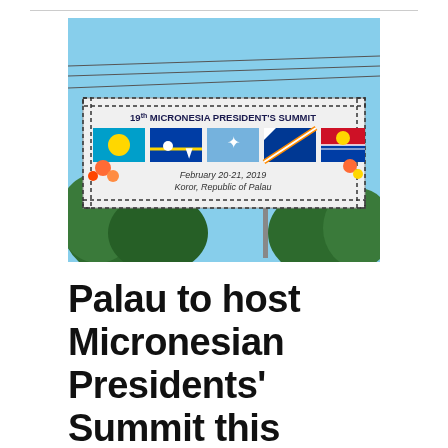[Figure (photo): A banner/billboard sign for the 19th Micronesia President's Summit, February 20-21, 2019, Koror, Republic of Palau. The banner shows the flags of Palau, Nauru, FSM, Marshall Islands, and Kiribati, with tropical flowers. The scene shows blue sky, power lines, and trees in the background.]
Palau to host Micronesian Presidents' Summit this week